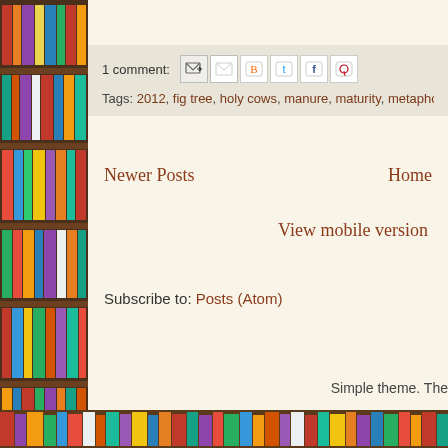[Figure (photo): Bookshelf with colorful books on the left side of the page]
1 comment:
Tags: 2012, fig tree, holy cows, manure, maturity, metaphor, perspectiv…
Newer Posts
Home
View mobile version
Subscribe to: Posts (Atom)
Simple theme. The
[Figure (photo): Row of colorful books along the bottom of the page]